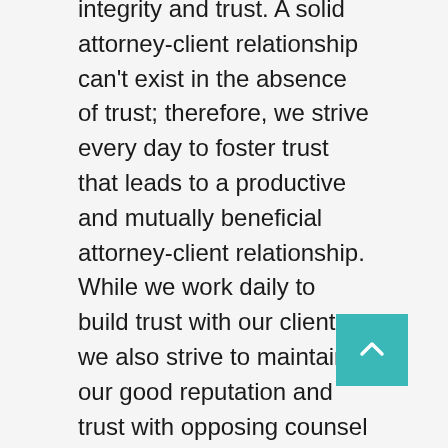integrity and trust. A solid attorney-client relationship can't exist in the absence of trust; therefore, we strive every day to foster trust that leads to a productive and mutually beneficial attorney-client relationship. While we work daily to build trust with our clients, we also strive to maintain our good reputation and trust with opposing counsel and the tribunals before which we appear. We believe that by promoting professionalism and civility in all aspects of our legal representation, mutual respect and trust allow us to advocate effectively for our client.
Our firm philosophy is also based on clear communication and prompt service. We provide sound solutions to our clients' legal